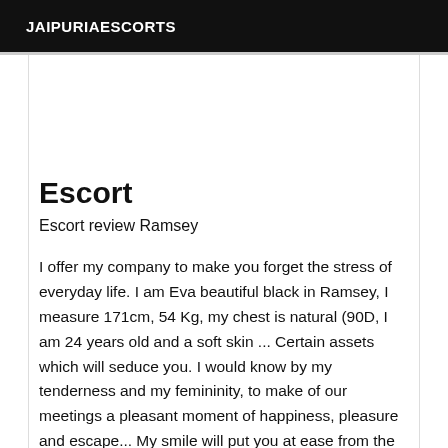JAIPURIAESCORTS
Escort
Escort review Ramsey
I offer my company to make you forget the stress of everyday life. I am Eva beautiful black in Ramsey, I measure 171cm, 54 Kg, my chest is natural (90D, I am 24 years old and a soft skin ... Certain assets which will seduce you. I would know by my tenderness and my femininity, to make of our meetings a pleasant moment of happiness, pleasure and escape... My smile will put you at ease from the very first moments. My naughty look and my personality will make me the accomplice of your secret garden. Always in the respect, the